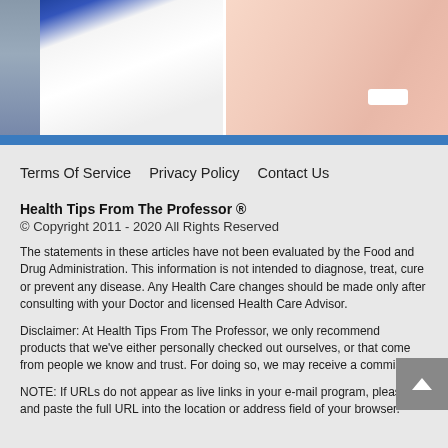[Figure (photo): Two photos side by side: left shows a doctor/scientist in a white coat with lab equipment, right shows a patient in a hospital gown with a wristband]
Terms Of Service    Privacy Policy    Contact Us
Health Tips From The Professor ®
© Copyright 2011 - 2020 All Rights Reserved
The statements in these articles have not been evaluated by the Food and Drug Administration. This information is not intended to diagnose, treat, cure or prevent any disease. Any Health Care changes should be made only after consulting with your Doctor and licensed Health Care Advisor.
Disclaimer: At Health Tips From The Professor, we only recommend products that we've either personally checked out ourselves, or that come from people we know and trust. For doing so, we may receive a commission.
NOTE: If URLs do not appear as live links in your e-mail program, please cut and paste the full URL into the location or address field of your browser.